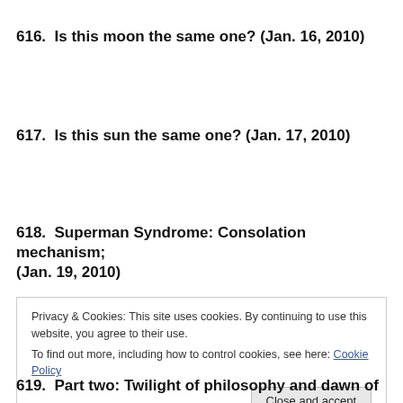616.  Is this moon the same one? (Jan. 16, 2010)
617.  Is this sun the same one? (Jan. 17, 2010)
618.  Superman Syndrome: Consolation mechanism; (Jan. 19, 2010)
Privacy & Cookies: This site uses cookies. By continuing to use this website, you agree to their use.
To find out more, including how to control cookies, see here: Cookie Policy
619.  Part two: Twilight of philosophy and dawn of